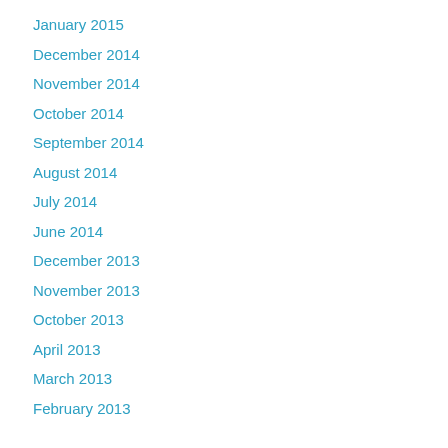January 2015
December 2014
November 2014
October 2014
September 2014
August 2014
July 2014
June 2014
December 2013
November 2013
October 2013
April 2013
March 2013
February 2013